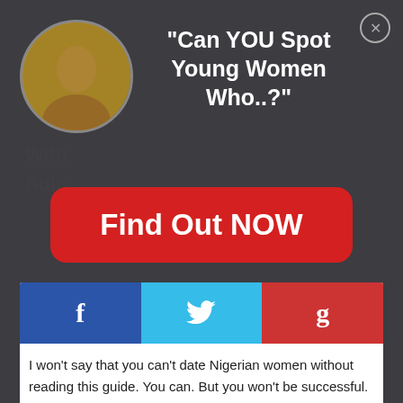[Figure (screenshot): Modal popup overlay with dark gray background, circular avatar photo of a woman in the top left, headline text, red CTA button, and partially visible background page text.]
"Can YOU Spot Young Women Who..?"
[Figure (other): Red rounded rectangle button with text 'Find Out NOW']
[Figure (other): Social share bar with three buttons: Facebook (blue, f icon), Twitter (cyan, bird icon), Google+ (red, g icon)]
I won't say that you can't date Nigerian women without reading this guide. You can. But you won't be successful.

The color of your skin is not the only thing that's different.